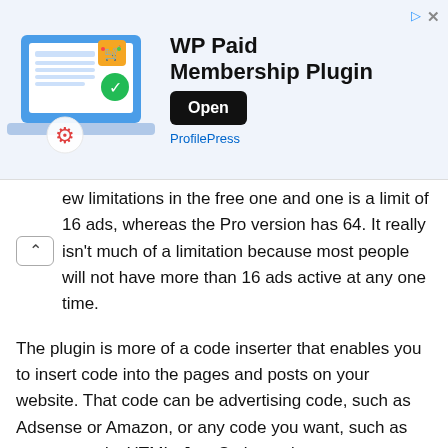[Figure (illustration): Advertisement banner for WP Paid Membership Plugin by ProfilePress. Shows a laptop illustration with shopping cart and settings icons on the left, plugin name and Open button on the right.]
ew limitations in the free one and one is a limit of 16 ads, whereas the Pro version has 64. It really isn't much of a limitation because most people will not have more than 16 ads active at any one time.
The plugin is more of a code inserter that enables you to insert code into the pages and posts on your website. That code can be advertising code, such as Adsense or Amazon, or any code you want, such as your own ads, HTML, JavaScript and so on.
It does not do fancy effects like sliding in from the corners, triggering when the visitor is idle, overlays and backgrounds. It just inserts code.